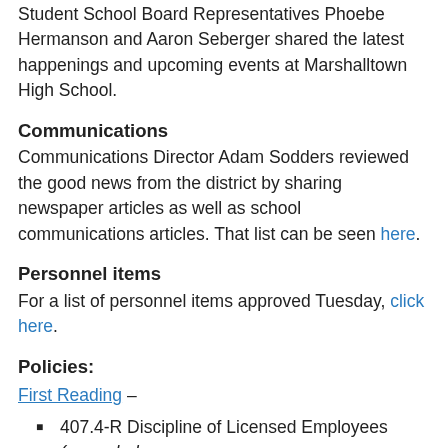Student School Board Representatives Phoebe Hermanson and Aaron Seberger shared the latest happenings and upcoming events at Marshalltown High School.
Communications
Communications Director Adam Sodders reviewed the good news from the district by sharing newspaper articles as well as school communications articles. That list can be seen here.
Personnel items
For a list of personnel items approved Tuesday, click here.
Policies:
First Reading –
407.4-R Discipline of Licensed Employees (amended, second reading required)